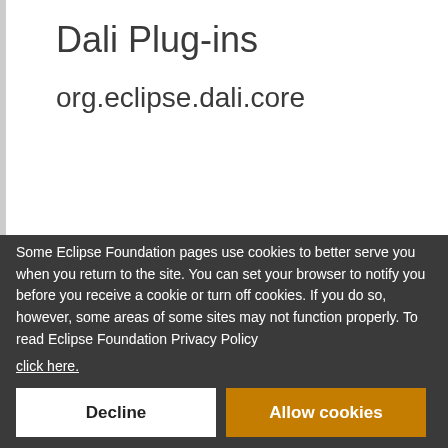Dali Plug-ins
org.eclipse.dali.core
Some Eclipse Foundation pages use cookies to better serve you when you return to the site. You can set your browser to notify you before you receive a cookie or turn off cookies. If you do so, however, some areas of some sites may not function properly. To read Eclipse Foundation Privacy Policy click here.